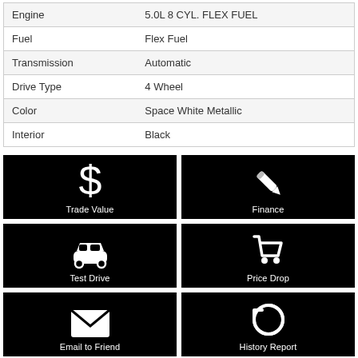| Property | Value |
| --- | --- |
| Engine | 5.0L 8 CYL. FLEX FUEL |
| Fuel | Flex Fuel |
| Transmission | Automatic |
| Drive Type | 4 Wheel |
| Color | Space White Metallic |
| Interior | Black |
[Figure (infographic): Six action buttons on black backgrounds: Trade Value (dollar sign icon), Finance (pencil icon), Test Drive (car icon), Price Drop (shopping cart icon), Email to Friend (envelope icon), History Report (clock/refresh icon)]